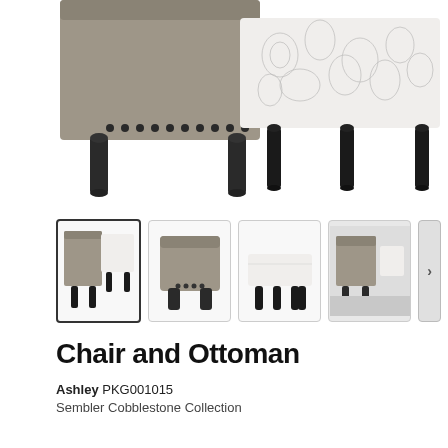[Figure (photo): Main product image showing a gray upholstered chair with patterned ottoman with black turned legs, cropped view from mid-section down]
[Figure (photo): Thumbnail row of 4 product images: 1) chair and ottoman set (selected), 2) chair alone, 3) ottoman alone, 4) lifestyle room setting. With right arrow navigation button.]
Chair and Ottoman
Ashley PKG001015
Sembler Cobblestone Collection